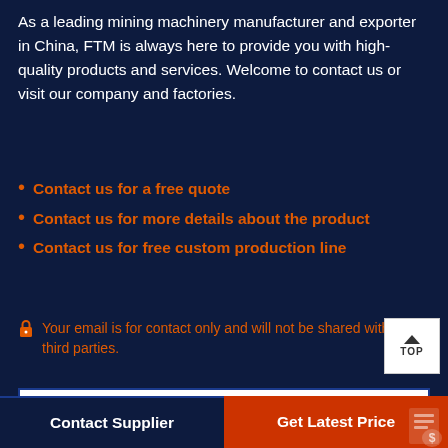As a leading mining machinery manufacturer and exporter in China, FTM is always here to provide you with high-quality products and services. Welcome to contact us or visit our company and factories.
Contact us for a free quote
Contact us for more details about the product
Contact us for free custom production line
Your email is for contact only and will not be shared with any third parties.
Product Name
Contact Supplier
Get Latest Price